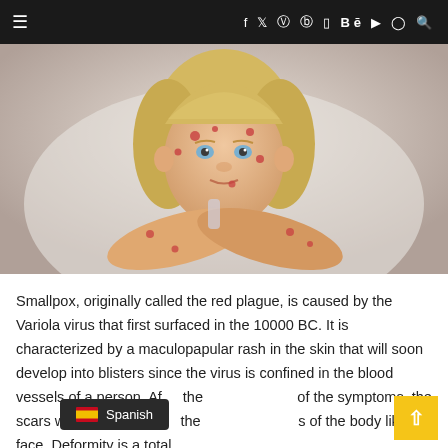≡  f  ʸ  ⌂  ℗  ⊡  Bē  ▶  ◉  🔍
[Figure (photo): A young blonde child with visible red spots/blisters on face and arms, consistent with smallpox or chickenpox symptoms, resting chin on crossed arms]
Smallpox, originally called the red plague, is caused by the Variola virus that first surfaced in the 10000 BC. It is characterized by a maculopapular rash in the skin that will soon develop into blisters since the virus is confined in the blood vessels of a person. After the manifestation of the symptoms, the scars will be apparent on the prominent parts of the body like the face. Deformity is a total